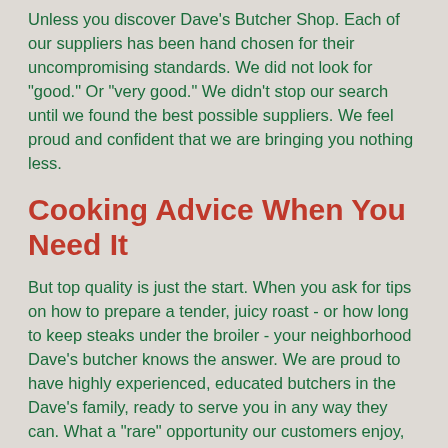Unless you discover Dave's Butcher Shop. Each of our suppliers has been hand chosen for their uncompromising standards. We did not look for "good." Or "very good." We didn't stop our search until we found the best possible suppliers. We feel proud and confident that we are bringing you nothing less.
Cooking Advice When You Need It
But top quality is just the start. When you ask for tips on how to prepare a tender, juicy roast - or how long to keep steaks under the broiler - your neighborhood Dave's butcher knows the answer. We are proud to have highly experienced, educated butchers in the Dave's family, ready to serve you in any way they can. What a "rare" opportunity our customers enjoy, having a wealth of information as close as the nearest Dave's.